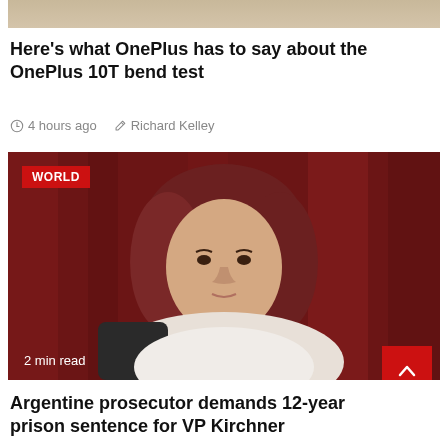[Figure (photo): Partial top image of a phone bend test, cropped at top of page]
Here's what OnePlus has to say about the OnePlus 10T bend test
4 hours ago   Richard Kelley
[Figure (photo): Photo of a woman with auburn hair seated in front of red curtains, with WORLD badge overlay and '2 min read' text]
Argentine prosecutor demands 12-year prison sentence for VP Kirchner